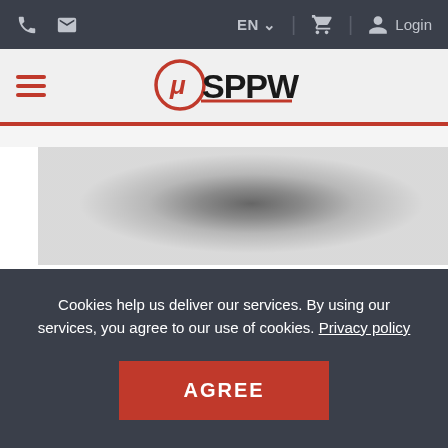EN  Login
[Figure (logo): μSPPW logo with red circular mu symbol and bold black SPPW text]
[Figure (photo): Blurred product image with gray gradient background, appears to show a cylindrical or electronic component]
Cookies help us deliver our services. By using our services, you agree to our use of cookies. Privacy policy
AGREE